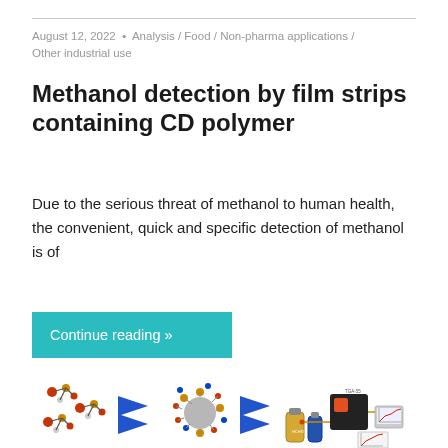August 12, 2022  •  Analysis / Food / Non-pharma applications / Other industrial use
Methanol detection by film strips containing CD polymer
Due to the serious threat of methanol to human health, the convenient, quick and specific detection of methanol is of
Continue reading »
[Figure (infographic): Scientific infographic showing molecular structures of methanol molecules on the left, blue arrows pointing to a nanoparticle/CD polymer complex in the center, more blue arrows pointing to laboratory equipment and analysis instruments on the right including a TGA-55 instrument, gas cylinders labeled HCHO, and a computer with graphs.]